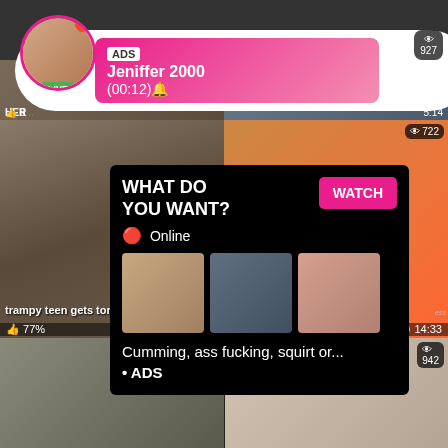[Figure (screenshot): Adult content website screenshot with video thumbnails grid layout, ad notification bubble for 'Jeniffer 2000', popup overlay with 'WHAT DO YOU WANT?' and WATCH button, video labels including 'trampy teen gets tongued' (77%, 6:15) and 'FitnessRooms teenager babe...' (83%, 14:33), view counts 927, 722, 894, 942]